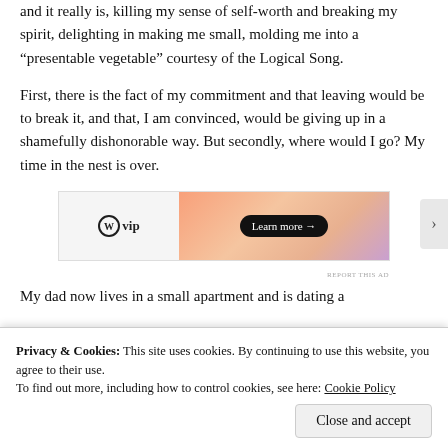and it really is, killing my sense of self-worth and breaking my spirit, delighting in making me small, molding me into a “presentable vegetable” courtesy of the Logical Song.
First, there is the fact of my commitment and that leaving would be to break it, and that, I am convinced, would be giving up in a shamefully dishonorable way. But secondly, where would I go? My time in the nest is over.
[Figure (other): WordPress VIP advertisement banner with gradient orange/pink background and 'Learn more →' button]
My dad now lives in a small apartment and is dating a
Privacy & Cookies: This site uses cookies. By continuing to use this website, you agree to their use.
To find out more, including how to control cookies, see here: Cookie Policy
Close and accept